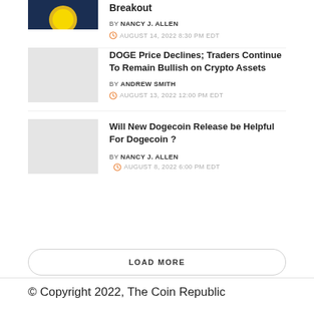[Figure (photo): Partial thumbnail of a crypto-themed image (sun/coin on dark blue background), cropped at top]
Breakout
BY NANCY J. ALLEN
AUGUST 14, 2022 8:30 PM EDT
[Figure (photo): Gray placeholder thumbnail for DOGE article]
DOGE Price Declines; Traders Continue To Remain Bullish on Crypto Assets
BY ANDREW SMITH
AUGUST 13, 2022 12:00 PM EDT
[Figure (photo): Gray placeholder thumbnail for Dogecoin Release article]
Will New Dogecoin Release be Helpful For Dogecoin ?
BY NANCY J. ALLEN
AUGUST 8, 2022 6:00 PM EDT
LOAD MORE
© Copyright 2022, The Coin Republic